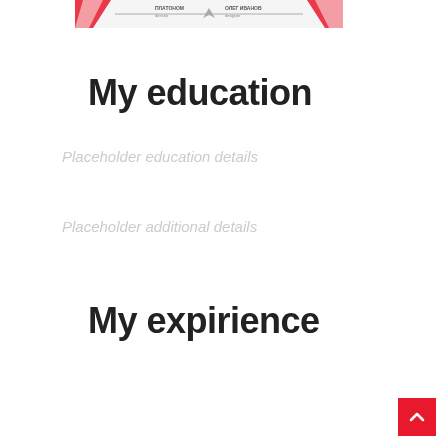[Figure (other): Resume/CV header card with red diagonal stripe accents, name and title fields, and a small arrow/location icon in the center]
My education
Placeholder education entry 1
Placeholder education entry 2
My expirience
[Figure (other): Back to top button — red square with white upward chevron arrow]